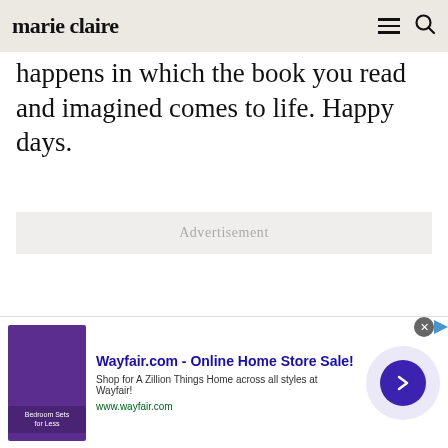marie claire
happens in which the book you read and imagined comes to life. Happy days.
Advertisement
Wayfair.com - Online Home Store Sale!
Shop for A Zillion Things Home across all styles at Wayfair!
www.wayfair.com